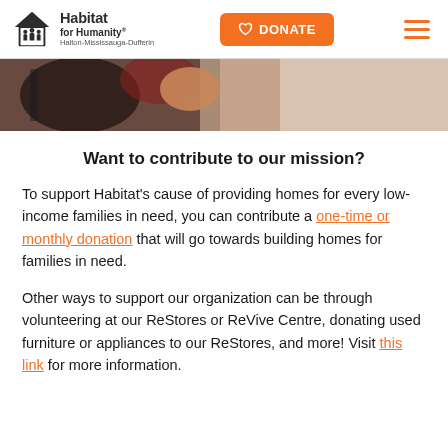Habitat for Humanity Halton-Mississauga-Dufferin | DONATE
[Figure (photo): Partial photo of a person, cropped — appears to be a person near a wall or door, warm tones.]
Want to contribute to our mission?
To support Habitat's cause of providing homes for every low-income families in need, you can contribute a one-time or monthly donation that will go towards building homes for families in need.
Other ways to support our organization can be through volunteering at our ReStores or ReVive Centre, donating used furniture or appliances to our ReStores, and more! Visit this link for more information.